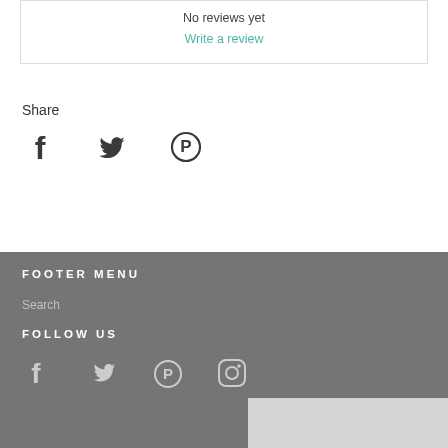No reviews yet
Write a review
Share
[Figure (illustration): Three social share icons: Facebook, Twitter, Pinterest]
FOOTER MENU
Search
FOLLOW US
[Figure (illustration): Four social follow icons: Facebook, Twitter, Pinterest, Instagram]